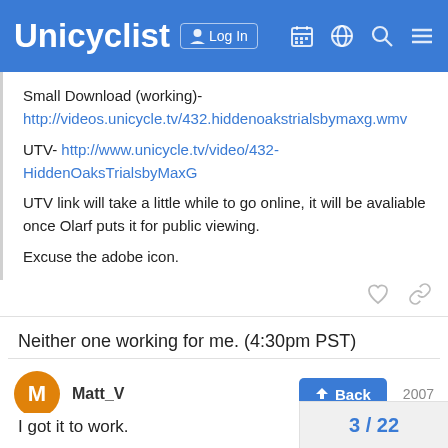Unicyclist  Log In
Small Download (working)- http://videos.unicycle.tv/432.hiddenoakstrialsbymaxg.wmv

UTV- http://www.unicycle.tv/video/432-HiddenOaksTrialsbyMaxG

UTV link will take a little while to go online, it will be avaliable once Olarf puts it for public viewing.

Excuse the adobe icon.
Neither one working for me. (4:30pm PST)
Matt_V  2007
I got it to work.